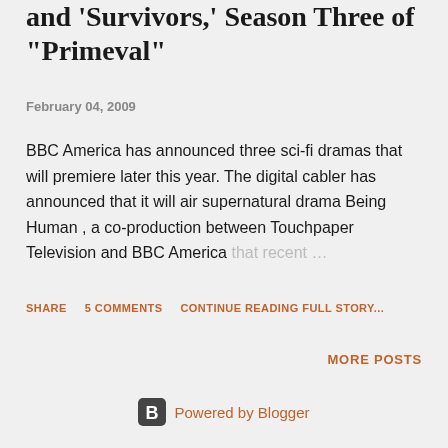and 'Survivors,' Season Three of "Primeval"
February 04, 2009
BBC America has announced three sci-fi dramas that will premiere later this year. The digital cabler has announced that it will air supernatural drama Being Human , a co-production between Touchpaper Television and BBC America that recent ...
SHARE   5 COMMENTS   CONTINUE READING FULL STORY...
MORE POSTS
Powered by Blogger